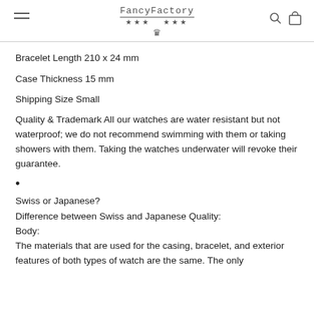FancyFactory *** crown *** [menu icon] [search icon] [bag icon]
Bracelet Length 210 x 24 mm
Case Thickness 15 mm
Shipping Size Small
Quality & Trademark All our watches are water resistant but not waterproof; we do not recommend swimming with them or taking showers with them. Taking the watches underwater will revoke their guarantee.
•
Swiss or Japanese?
Difference between Swiss and Japanese Quality:
Body:
The materials that are used for the casing, bracelet, and exterior features of both types of watch are the same. The only difference is in the precision of the manufacturing. S...